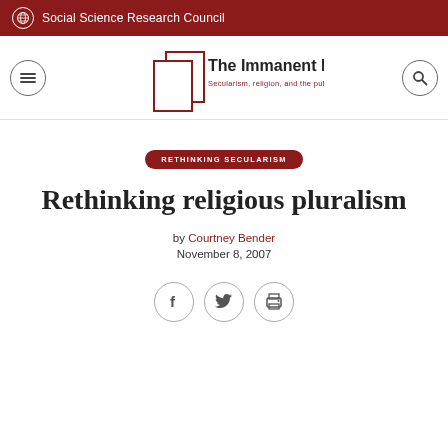Social Science Research Council
[Figure (logo): The Immanent Frame logo — Secularism, religion, and the public sphere]
RETHINKING SECULARISM
Rethinking religious pluralism
by Courtney Bender
November 8, 2007
[Figure (infographic): Social share icons: Facebook, Twitter, Print]